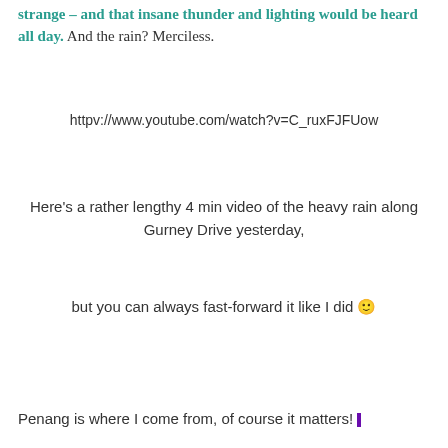strange – and that insane thunder and lighting would be heard all day. And the rain? Merciless.
httpv://www.youtube.com/watch?v=C_ruxFJFUow
Here's a rather lengthy 4 min video of the heavy rain along Gurney Drive yesterday,
but you can always fast-forward it like I did 🙂
Penang is where I come from, of course it matters! ▌